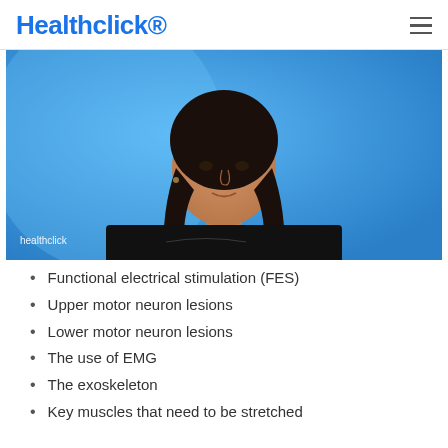Healthclick®
[Figure (photo): A woman with long dark hair wearing a black top, speaking to the camera against a blue background. A 'healthclick' watermark appears in the lower left corner of the image.]
Functional electrical stimulation (FES)
Upper motor neuron lesions
Lower motor neuron lesions
The use of EMG
The exoskeleton
Key muscles that need to be stretched